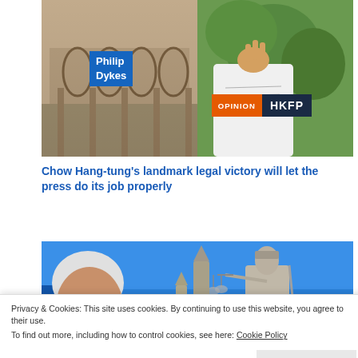[Figure (photo): Top banner image split: left side shows classical arched building architecture in warm tones; right side shows a person making a hand gesture wearing a white t-shirt. Blue label box reads 'Philip Dykes'. Orange and dark navy badge reads 'OPINION | HKFP'.]
Chow Hang-tung’s landmark legal victory will let the press do its job properly
[Figure (photo): Image showing an elderly man with white hair and mustache (left), blue geometric block shapes, and a Lady Justice statue holding scales against a blue sky background.]
Privacy & Cookies: This site uses cookies. By continuing to use this website, you agree to their use.
To find out more, including how to control cookies, see here: Cookie Policy
Close and accept
Why a Hong Kong judge was right to rule on reporting